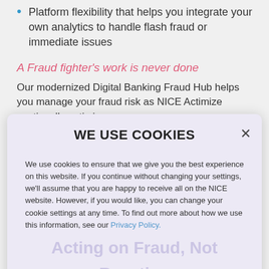Platform flexibility that helps you integrate your own analytics to handle flash fraud or immediate issues
A Fraud fighter's work is never done
Our modernized Digital Banking Fraud Hub helps you manage your fraud risk as NICE Actimize continually optimizes our ... the fraudsters.
WE USE COOKIES
We use cookies to ensure that we give you the best experience on this website. If you continue without changing your settings, we'll assume that you are happy to receive all on the NICE website. However, if you would like, you can change your cookie settings at any time. To find out more about how we use this information, see our Privacy Policy.
Acting on Fraud, Not Reacting
Accept All Cookies >